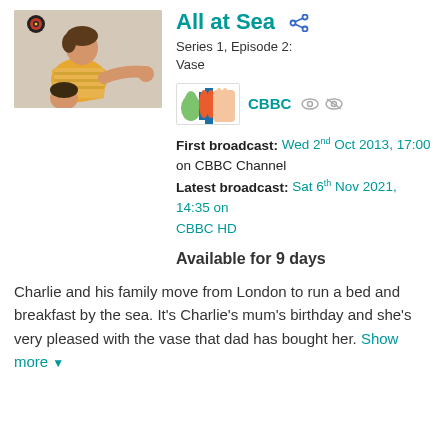[Figure (photo): A woman in a yellow top and striped shirt leaning over a child in a colorful room]
All at Sea
Series 1, Episode 2: Vase
[Figure (logo): CBBC channel logo]
CBBC
First broadcast: Wed 2nd Oct 2013, 17:00 on CBBC Channel Latest broadcast: Sat 6th Nov 2021, 14:35 on CBBC HD
Available for 9 days
Charlie and his family move from London to run a bed and breakfast by the sea. It's Charlie's mum's birthday and she's very pleased with the vase that dad has bought her. Show more